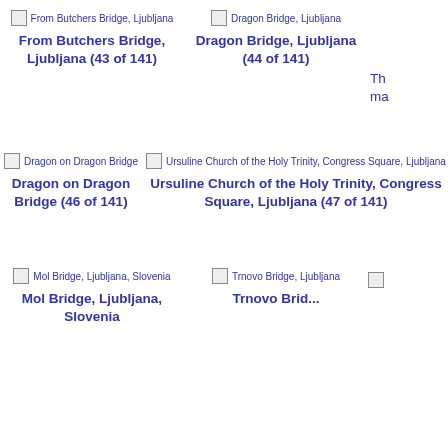[Figure (photo): Broken image icon for 'From Butchers Bridge, Ljubljana' with label text]
From Butchers Bridge, Ljubljana (43 of 141)
[Figure (photo): Broken image icon for 'Dragon Bridge, Ljubljana' with label text]
Dragon Bridge, Ljubljana (44 of 141)
Th... ma... (partially visible)
[Figure (photo): Broken image icon for 'Dragon on Dragon Bridge' with label text]
Dragon on Dragon Bridge (46 of 141)
[Figure (photo): Broken image icon for 'Ursuline Church of the Holy Trinity, Congress Square, Ljubljana' with label text]
Ursuline Church of the Holy Trinity, Congress Square, Ljubljana (47 of 141)
[Figure (photo): Partially visible image/caption at right edge]
[Figure (photo): Broken image icon for 'Mol Bridge, Ljubljana, Slovenia' with label text]
Mol Bridge, Ljubljana, Slovenia
[Figure (photo): Broken image icon for 'Trnovo Bridge, Ljubljana' with label text]
Trnovo Bridge, Ljubljana